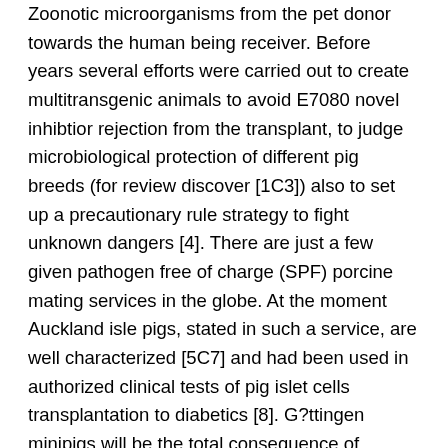Zoonotic microorganisms from the pet donor towards the human being receiver. Before years several efforts were carried out to create multitransgenic animals to avoid E7080 novel inhibtior rejection from the transplant, to judge microbiological protection of different pig breeds (for review discover [1C3]) also to set up a precautionary rule strategy to fight unknown dangers [4]. There are just a few given pathogen free of charge (SPF) porcine mating services in the globe. At the moment Auckland isle pigs, stated in such a service, are well characterized [5C7] and had been used in authorized clinical tests of pig islet cells transplantation to diabetics [8]. G?ttingen minipigs will be the total consequence of crossbreeding the Minnesota minipig, the Vietnamese potbelly pig as well as the German Landrace pig. This breed of dog can be used in biomedical study and may be looked at as donor of islet cells. The herd bred at Ellegaard, Denmark (http://minipigs.dk/the-goettingen-minipig/) is stated in a SPF service. Physiologic